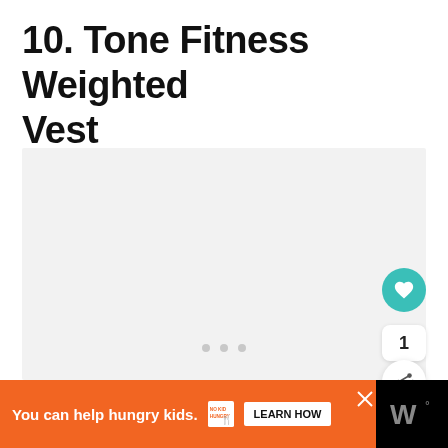10. Tone Fitness Weighted Vest
[Figure (photo): Light gray placeholder image area for product photo with three dot navigation indicators at the bottom center. A teal heart/favorite button, a count of 1, and a share button are overlaid on the right side.]
You can help hungry kids.  NO KID HUNGRY  LEARN HOW